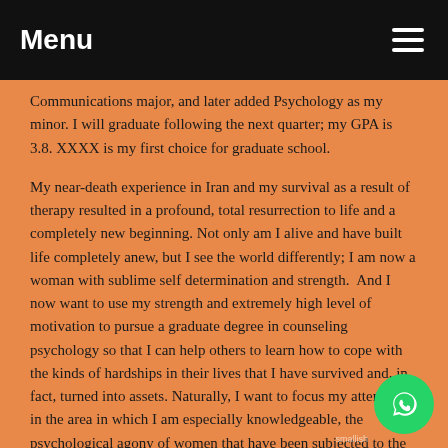Menu
Communications major, and later added Psychology as my minor. I will graduate following the next quarter; my GPA is 3.8. XXXX is my first choice for graduate school.
My near-death experience in Iran and my survival as a result of therapy resulted in a profound, total resurrection to life and a completely new beginning. Not only am I alive and have built life completely anew, but I see the world differently; I am now a woman with sublime self determination and strength.  And I now want to use my strength and extremely high level of motivation to pursue a graduate degree in counseling psychology so that I can help others to learn how to cope with the kinds of hardships in their lives that I have survived and, in fact, turned into assets. Naturally, I want to focus my attention in the area in which I am especially knowledgeable, the psychological agony of women that have been subjected to the brutality of Islamic law: the fear, agony, sense of defeat, worthlessness, all too often leading to suicide, even self-